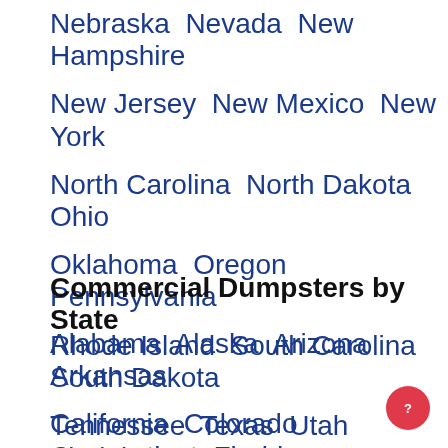Nebraska  Nevada  New Hampshire
New Jersey  New Mexico  New York
North Carolina  North Dakota  Ohio
Oklahoma  Oregon  Pennsylvania
Rhode Island  South Carolina  South Dakota
Tennessee  Texas  Utah  Virginia
Washington  Wisconsin  Wyoming
Commercial Dumpsters by State
Alabama  Alaska  Arizona  Arkansas
California  Colorado  Connecticut  Florida
Georgia  Hawaii  Idaho  Illinois  Indiana
Iowa  Kansas  Kentucky  Louisiana